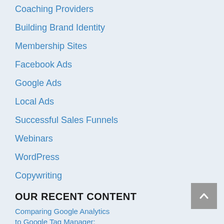Coaching Providers
Building Brand Identity
Membership Sites
Facebook Ads
Google Ads
Local Ads
Successful Sales Funnels
Webinars
WordPress
Copywriting
OUR RECENT CONTENT
Comparing Google Analytics to Google Tag Manager: Which Do You Need The Most & Why
How Top Brands Like Wendy's And Canva Have Gamified The Dreaded 404 Error Page And People Are